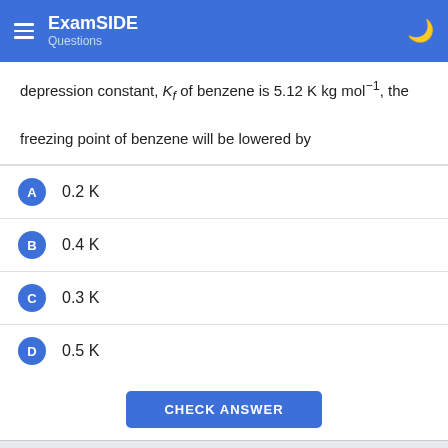ExamSIDE Questions
depression constant, Kf of benzene is 5.12 K kg mol⁻¹, the freezing point of benzene will be lowered by
A  0.2 K
B  0.4 K
C  0.3 K
D  0.5 K
CHECK ANSWER
PREVIOUS   NEXT